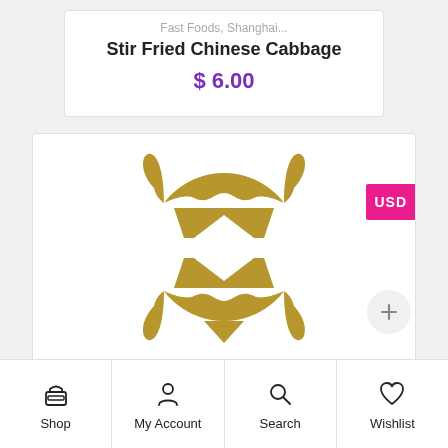Fast Foods, Shanghai...
Stir Fried Chinese Cabbage
$ 6.00
[Figure (logo): Gold shield-shaped logo with stylized S letter mark in the center, on white background]
USD
Shop | My Account | Search | Wishlist